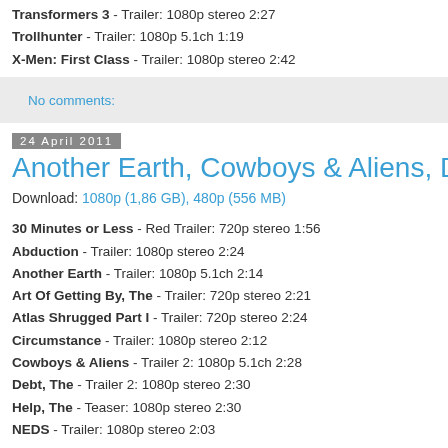Transformers 3 - Trailer: 1080p stereo 2:27
Trollhunter - Trailer: 1080p 5.1ch 1:19
X-Men: First Class - Trailer: 1080p stereo 2:42
No comments:
24 April 2011
Another Earth, Cowboys & Aliens, Debt
Download: 1080p (1,86 GB), 480p (556 MB)
30 Minutes or Less - Red Trailer: 720p stereo 1:56
Abduction - Trailer: 1080p stereo 2:24
Another Earth - Trailer: 1080p 5.1ch 2:14
Art Of Getting By, The - Trailer: 720p stereo 2:21
Atlas Shrugged Part I - Trailer: 720p stereo 2:24
Circumstance - Trailer: 1080p stereo 2:12
Cowboys & Aliens - Trailer 2: 1080p 5.1ch 2:28
Debt, The - Trailer 2: 1080p stereo 2:30
Help, The - Teaser: 1080p stereo 2:30
NEDS - Trailer: 1080p stereo 2:03